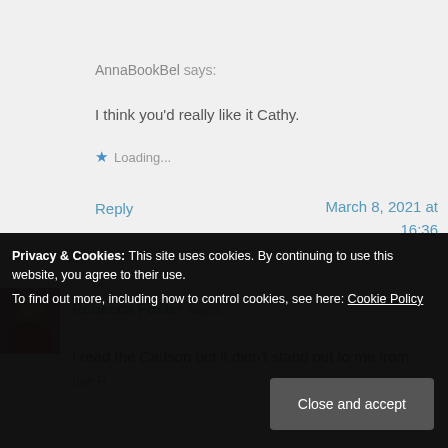AnnaBookBel says:
I think you'd really like it Cathy.
Loading...
Reply
March 8, 2021 at 16:36
Rebecca Foster says:
I read the Carlson but it didn't stand out to me from the P...
Auster touch there with the naming.
Privacy & Cookies: This site uses cookies. By continuing to use this website, you agree to their use. To find out more, including how to control cookies, see here: Cookie Policy
Close and accept